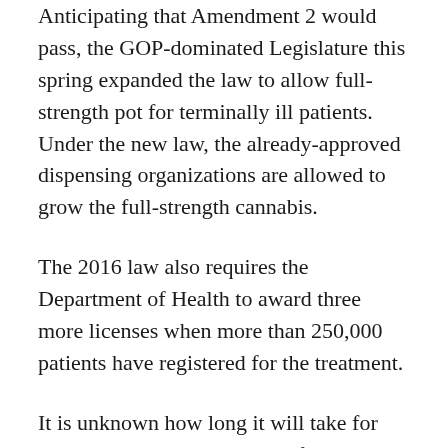Anticipating that Amendment 2 would pass, the GOP-dominated Legislature this spring expanded the law to allow full-strength pot for terminally ill patients. Under the new law, the already-approved dispensing organizations are allowed to grow the full-strength cannabis.
The 2016 law also requires the Department of Health to award three more licenses when more than 250,000 patients have registered for the treatment.
It is unknown how long it will take for that many patients to sign up for the treatment, but proponents of Amendment 2 believe that the estimated 500,000 patients who would be eligible will require even more licenses than that anticipated by the state law.
The constitutional amendment provides for